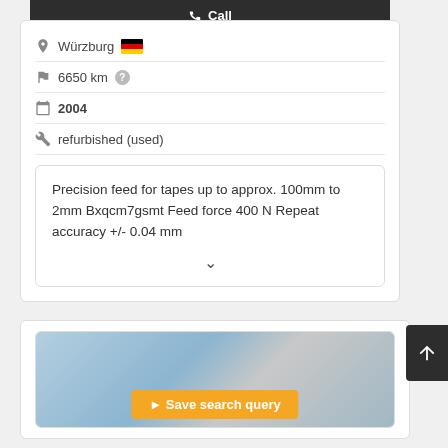Call
Würzburg  6650 km
2004
refurbished (used)
Precision feed for tapes up to approx. 100mm to 2mm Bxqcm7gsmt Feed force 400 N Repeat accuracy +/- 0.04 mm
Save search query